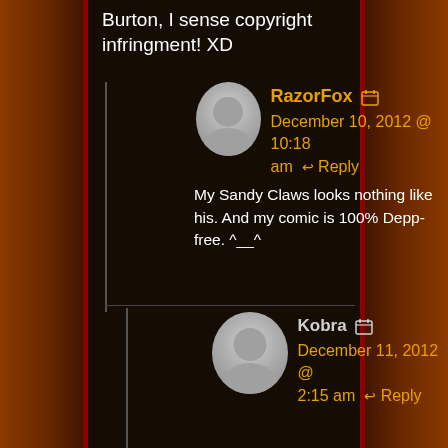Burton, I sense copyright infringment! XD
RazorFox
December 10, 2012 @ 10:18 am Reply
My Sandy Claws looks nothing like his. And my comic is 100% Depp-free. ^__^
Kobra
December 11, 2012 @ 2:15 am Reply